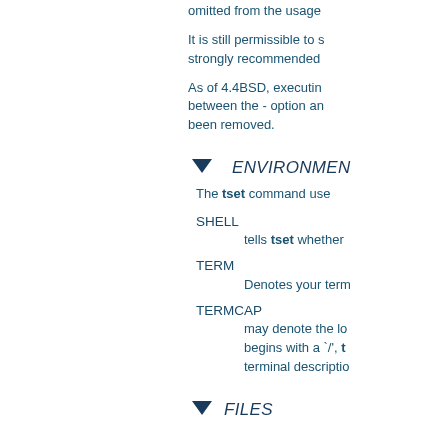omitted from the usage
It is still permissible to s strongly recommended
As of 4.4BSD, executin between the - option an been removed.
ENVIRONMENT
The tset command use
SHELL
    tells tset whether
TERM
    Denotes your term
TERMCAP
    may denote the lo begins with a '/', t terminal descriptio
FILES